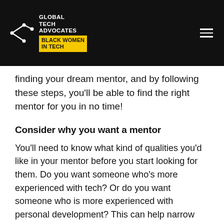Global Tech Advocates Black Women in Tech
finding your dream mentor, and by following these steps, you'll be able to find the right mentor for you in no time!
Consider why you want a mentor
You'll need to know what kind of qualities you'd like in your mentor before you start looking for them. Do you want someone who's more experienced with tech? Or do you want someone who is more experienced with personal development? This can help narrow down your search when it comes time to find your mentor. Do you want someone who can give you advice on how to navigate politics at work? Or do you want someone